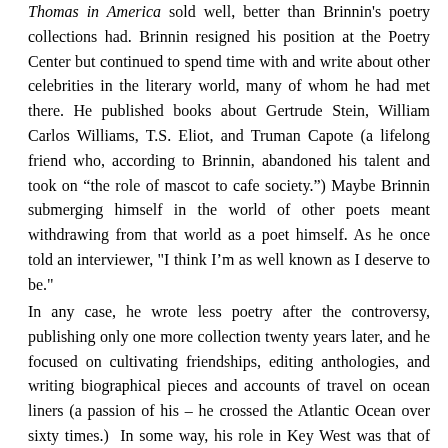Thomas in America sold well, better than Brinnin's poetry collections had. Brinnin resigned his position at the Poetry Center but continued to spend time with and write about other celebrities in the literary world, many of whom he had met there. He published books about Gertrude Stein, William Carlos Williams, T.S. Eliot, and Truman Capote (a lifelong friend who, according to Brinnin, abandoned his talent and took on “the role of mascot to cafe society.”) Maybe Brinnin submerging himself in the world of other poets meant withdrawing from that world as a poet himself. As he once told an interviewer, "I think I’m as well known as I deserve to be."
In any case, he wrote less poetry after the controversy, publishing only one more collection twenty years later, and he focused on cultivating friendships, editing anthologies, and writing biographical pieces and accounts of travel on ocean liners (a passion of his – he crossed the Atlantic Ocean over sixty times.) In some way, his role in Key West was that of the leader of a private literary salon, making sure he was a star in that firmament. His book Sextet is full of gossipy anecdotes about celebrities, including some his own friends or the friends of friends. T.S. Eliot, according to Eliot’s